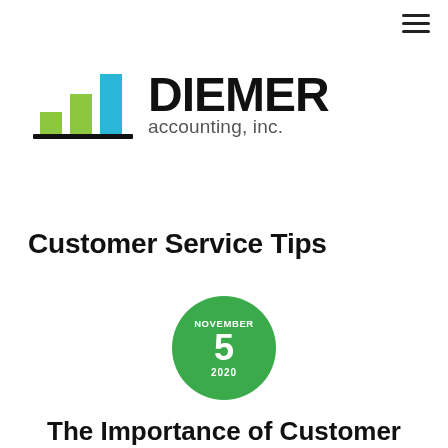[Figure (logo): Diemer Accounting, Inc. logo with bar chart icon (green and blue bars on black baseline) and bold text 'DIEMER accounting, inc.']
Customer Service Tips
[Figure (infographic): Green circular date badge showing NOVEMBER 5 2020]
The Importance of Customer Communication